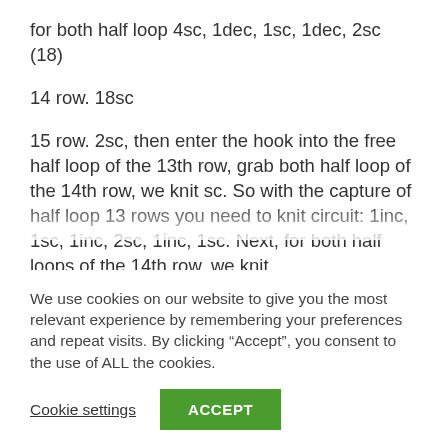for both half loop 4sc, 1dec, 1sc, 1dec, 2sc (18)
14 row. 18sc
15 row. 2sc, then enter the hook into the free half loop of the 13th row, grab both half loop of the 14th row, we knit sc. So with the capture of half loop 13 rows you need to knit circuit: 1inc, 1sc, 1inc, 2sc, 1inc, 1sc. Next, for both half loops of the 14th row, we knit
We use cookies on our website to give you the most relevant experience by remembering your preferences and repeat visits. By clicking “Accept”, you consent to the use of ALL the cookies.
Cookie settings
ACCEPT